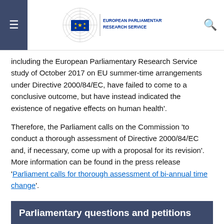European Parliamentary Research Service
including the European Parliamentary Research Service study of October 2017 on EU summer-time arrangements under Directive 2000/84/EC, have failed to come to a conclusive outcome, but have instead indicated the existence of negative effects on human health'.
Therefore, the Parliament calls on the Commission 'to conduct a thorough assessment of Directive 2000/84/EC and, if necessary, come up with a proposal for its revision'. More information can be found in the press release 'Parliament calls for thorough assessment of bi-annual time change'.
Parliamentary questions and petitions
The summer-time arrangements have also been the subject of a number of parliamentary questions and petitions, which can be consulted in the Public Register of Documents.